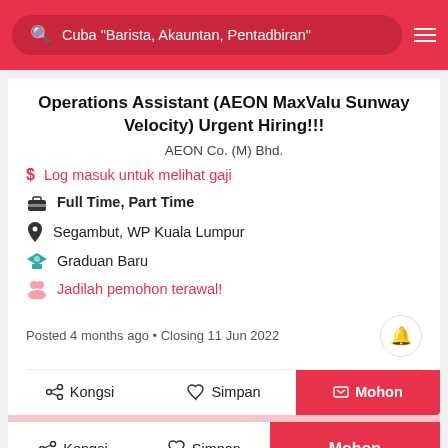Cuba "Barista, Akauntan, Pentadbiran"
Operations Assistant (AEON MaxValu Sunway Velocity) Urgent Hiring!!!
AEON Co. (M) Bhd.
Log masuk untuk melihat gaji
Full Time, Part Time
Segambut, WP Kuala Lumpur
Graduan Baru
Jadilah pemohon terawal!
Posted 4 months ago • Closing 11 Jun 2022
Kongsi  Simpan  Mohon
Kongsi  Simpan  Mohon